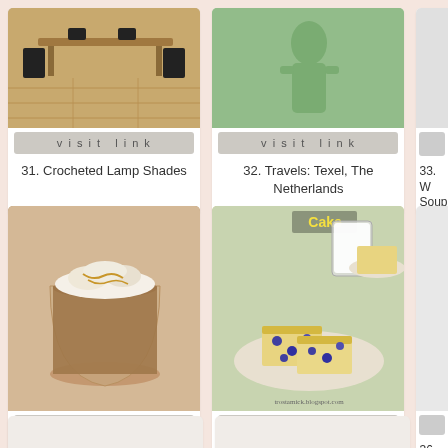[Figure (photo): Interior room with wooden floor and chairs around a table — item 31, Crocheted Lamp Shades]
31. Crocheted Lamp Shades
[Figure (photo): Green background with a figure — item 32, Travels: Texel, The Netherlands]
32. Travels: Texel, The Netherlands
33. W Soup
[Figure (photo): Glass of iced latte with whipped cream — item 34, Vegan Pumpkin Spice Latte (Keto, Gluten-Free)]
34. Vegan Pumpkin Spice Latte (Keto, Gluten-Free)
[Figure (photo): Blueberry cake slices on plate with glass of milk — item 35, BLUEBERRY MILK CAKE RECIPE]
35. BLUEBERRY MILK CAKE RECIPE
36